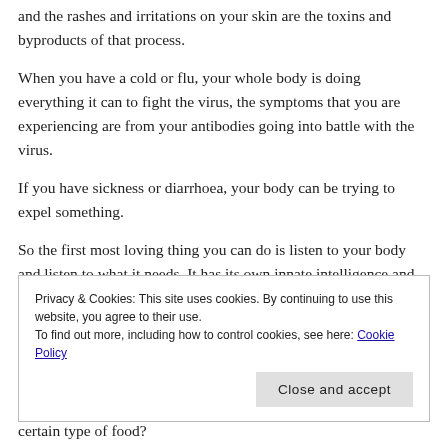and the rashes and irritations on your skin are the toxins and byproducts of that process.
When you have a cold or flu, your whole body is doing everything it can to fight the virus, the symptoms that you are experiencing are from your antibodies going into battle with the virus.
If you have sickness or diarrhoea, your body can be trying to expel something.
So the first most loving thing you can do is listen to your body and listen to what it needs. It has its own innate intelligence and
Privacy & Cookies: This site uses cookies. By continuing to use this website, you agree to their use.
To find out more, including how to control cookies, see here: Cookie Policy
Close and accept
certain type of food?